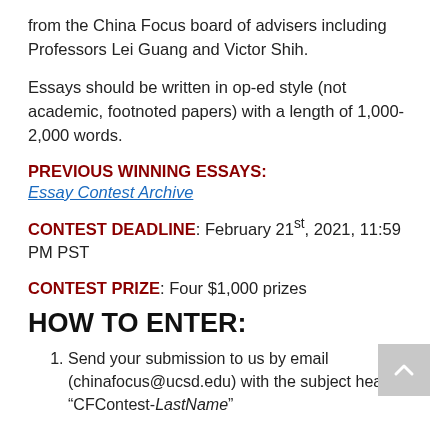from the China Focus board of advisers including Professors Lei Guang and Victor Shih.
Essays should be written in op-ed style (not academic, footnoted papers) with a length of 1,000-2,000 words.
PREVIOUS WINNING ESSAYS:
Essay Contest Archive
CONTEST DEADLINE: February 21st, 2021, 11:59 PM PST
CONTEST PRIZE: Four $1,000 prizes
HOW TO ENTER:
Send your submission to us by email (chinafocus@ucsd.edu) with the subject heading: “CFContest-LastName”